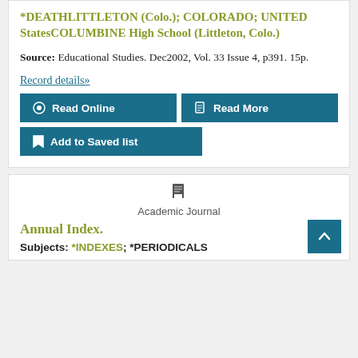*DEATHLITTLETON (Colo.); COLORADO; UNITED StatesCOLUMBINE High School (Littleton, Colo.)
Source: Educational Studies. Dec2002, Vol. 33 Issue 4, p391. 15p.
Record details»
Read Online
Read More
Add to Saved list
Academic Journal
Annual Index.
Subjects: *INDEXES; *PERIODICALS